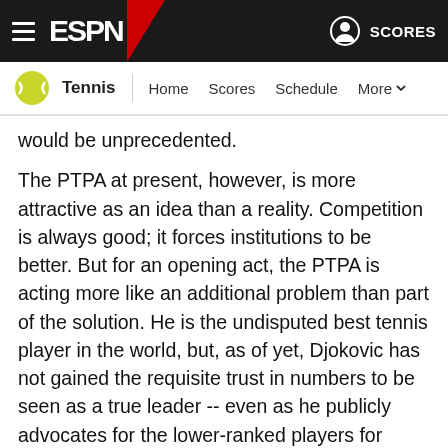ESPN Tennis — Home Scores Schedule More | SCORES
would be unprecedented.
The PTPA at present, however, is more attractive as an idea than a reality. Competition is always good; it forces institutions to be better. But for an opening act, the PTPA is acting more like an additional problem than part of the solution. He is the undisputed best tennis player in the world, but, as of yet, Djokovic has not gained the requisite trust in numbers to be seen as a true leader -- even as he publicly advocates for the lower-ranked players for whom playing tennis is often financially prohibitive. A week ago, the PTPA announced an executive director and an advisory board. One of those members, Katarina Pijetlovic, already has apologized for past derogatory tweets about "some high profile players." Pijetlovic